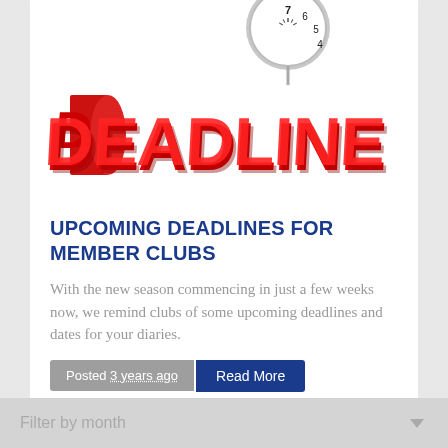[Figure (illustration): 3D red block letters spelling DEADLINE with a white alarm clock sitting on top, against a white background]
UPCOMING DEADLINES FOR MEMBER CLUBS
With the new season commencing in just a few weeks now, we remind clubs of some upcoming deadlines and dates for your diaries.
Posted 3 years ago   Read More
1
Filter by month